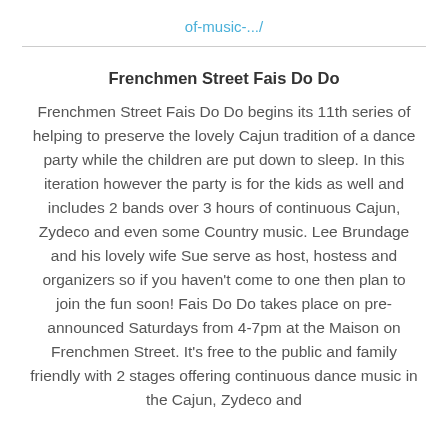of-music-.../
Frenchmen Street Fais Do Do
Frenchmen Street Fais Do Do begins its 11th series of helping to preserve the lovely Cajun tradition of a dance party while the children are put down to sleep. In this iteration however the party is for the kids as well and includes 2 bands over 3 hours of continuous Cajun, Zydeco and even some Country music. Lee Brundage and his lovely wife Sue serve as host, hostess and organizers so if you haven't come to one then plan to join the fun soon! Fais Do Do takes place on pre-announced Saturdays from 4-7pm at the Maison on Frenchmen Street. It's free to the public and family friendly with 2 stages offering continuous dance music in the Cajun, Zydeco and